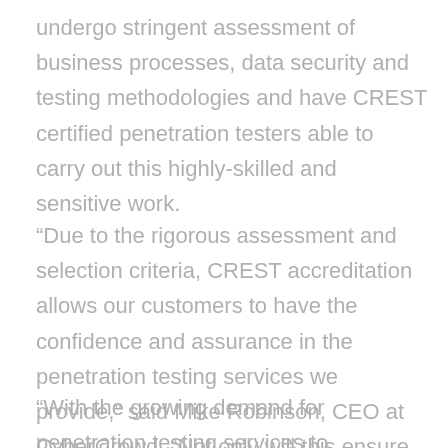undergo stringent assessment of business processes, data security and testing methodologies and have CREST certified penetration testers able to carry out this highly-skilled and sensitive work.
“Due to the rigorous assessment and selection criteria, CREST accreditation allows our customers to have the confidence and assurance in the penetration testing services we provide,” said Mike Robinson, CEO at CyberCrowd. “Not only will this ensure we maintain our high level of technical ability, it will also help us to attract the best talent to ensure our continued growth and success.”
“With the growing demand for penetration testing services to strengthen defenses against cyber attacks